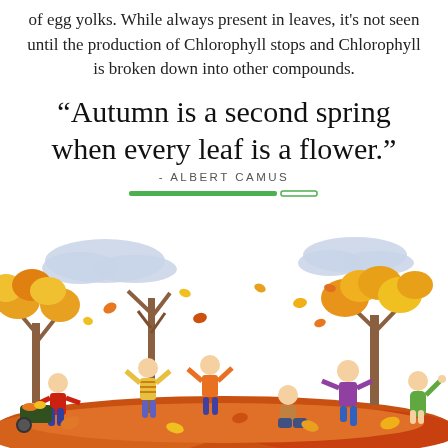of egg yolks. While always present in leaves, it's not seen until the production of Chlorophyll stops and Chlorophyll is broken down into other compounds.
“Autumn is a second spring when every leaf is a flower.” - ALBERT CAMUS
[Figure (illustration): Children playing in autumn leaves with trees and clouds in the background]